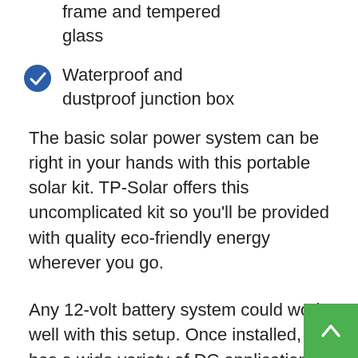frame and tempered glass
Waterproof and dustproof junction box
The basic solar power system can be right in your hands with this portable solar kit. TP-Solar offers this uncomplicated kit so you'll be provided with quality eco-friendly energy wherever you go.
Any 12-volt battery system could work well with this setup. Once installed, it has a wide variety of DC applications. This kit can be intended for RV, caravan, marine, dry camping, cabin, garden watering, and gate opening use, among others.
The package has one 20W monocrystalline solar p… extension cables, and the solar charge controller. It even